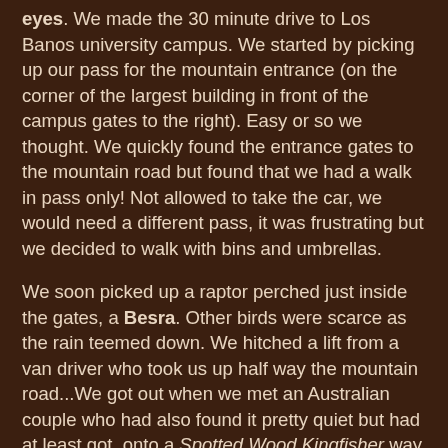eyes. We made the 30 minute drive to Los Banos university campus. We started by picking up our pass for the mountain entrance (on the corner of the largest building in front of the campus gates to the right). Easy or so we thought. We quickly found the entrance gates to the mountain road but found that we had a walk in pass only! Not allowed to take the car, we would need a different pass, it was frustrating but we decided to walk with bins and umbrellas.
We soon picked up a raptor perched just inside the gates, a Besra. Other birds were scarce as the rain teemed down. We hitched a lift from a van driver who took us up half way the mountain road...We got out when we met an Australian couple who had also found it pretty quiet but had at least got onto a Spotted Wood Kingfisher way further down the mountain.... Lucky sods!
A after a chat we set off down hill, of course it is much easier on the spirits to walk down hill in the rain! and unbelievably we picked up and subsequently were followed by target bird number one, a fine Scale Feathered Malkoha. Brilliant bird but a real pity about the weather and